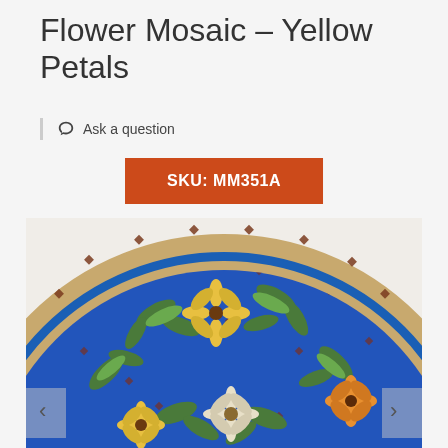Flower Mosaic – Yellow Petals
Ask a question
SKU: MM351A
[Figure (photo): Circular mosaic artwork featuring yellow and white daisy-like flowers with green leaves arranged on a deep blue tile background, with a decorative border of tan and brown tiles around the edge.]